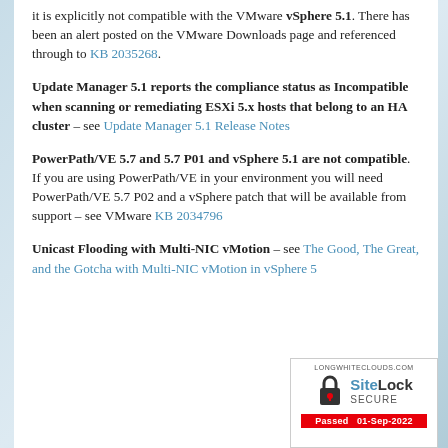it is explicitly not compatible with the VMware vSphere 5.1. There has been an alert posted on the VMware Downloads page and referenced through to KB 2035268.
Update Manager 5.1 reports the compliance status as Incompatible when scanning or remediating ESXi 5.x hosts that belong to an HA cluster – see Update Manager 5.1 Release Notes
PowerPath/VE 5.7 and 5.7 P01 and vSphere 5.1 are not compatible. If you are using PowerPath/VE in your environment you will need PowerPath/VE 5.7 P02 and a vSphere patch that will be available from support – see VMware KB 2034796
Unicast Flooding with Multi-NIC vMotion – see The Good, The Great, and the Gotcha with Multi-NIC vMotion in vSphere 5
[Figure (logo): SiteLock SECURE badge with LONGWHITECLOUDS.COM header and Passed 01-Sep-2022 stamp]